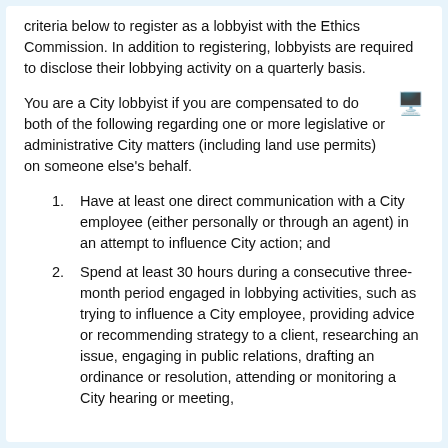criteria below to register as a lobbyist with the Ethics Commission. In addition to registering, lobbyists are required to disclose their lobbying activity on a quarterly basis.
You are a City lobbyist if you are compensated to do both of the following regarding one or more legislative or administrative City matters (including land use permits) on someone else's behalf.
Have at least one direct communication with a City employee (either personally or through an agent) in an attempt to influence City action; and
Spend at least 30 hours during a consecutive three-month period engaged in lobbying activities, such as trying to influence a City employee, providing advice or recommending strategy to a client, researching an issue, engaging in public relations, drafting an ordinance or resolution, attending or monitoring a City hearing or meeting,